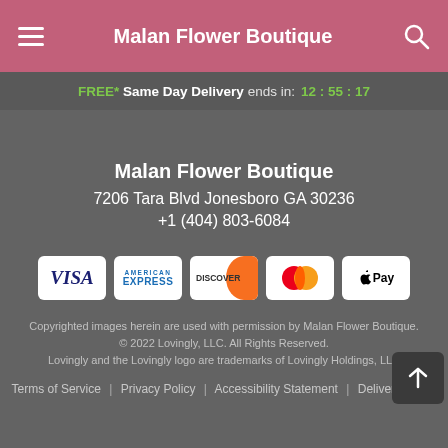Malan Flower Boutique
FREE* Same Day Delivery ends in: 12:55:17
Malan Flower Boutique
7206 Tara Blvd Jonesboro GA 30236
+1 (404) 803-6084
[Figure (other): Payment method icons: Visa, American Express, Discover, Mastercard, Apple Pay]
Copyrighted images herein are used with permission by Malan Flower Boutique.
© 2022 Lovingly, LLC. All Rights Reserved.
Lovingly and the Lovingly logo are trademarks of Lovingly Holdings, LLC
Terms of Service | Privacy Policy | Accessibility Statement | Delivery Policy